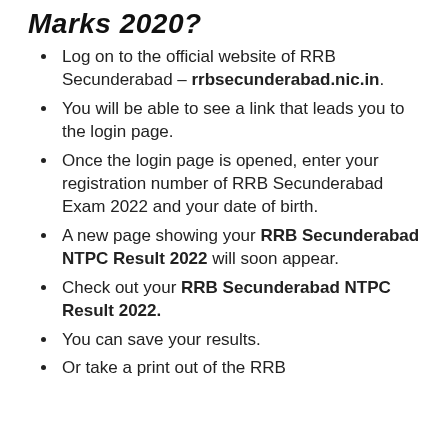Marks 2020?
Log on to the official website of RRB Secunderabad – rrbsecunderabad.nic.in.
You will be able to see a link that leads you to the login page.
Once the login page is opened, enter your registration number of RRB Secunderabad Exam 2022 and your date of birth.
A new page showing your RRB Secunderabad NTPC Result 2022 will soon appear.
Check out your RRB Secunderabad NTPC Result 2022.
You can save your results.
Or take a print out of the RRB